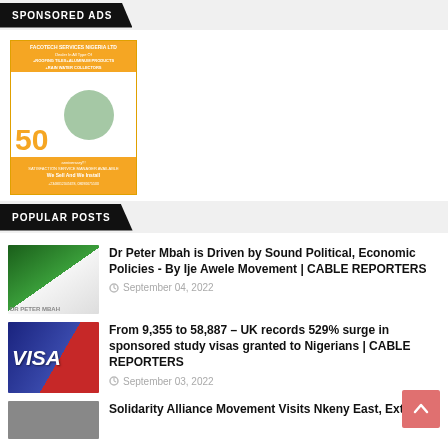SPONSORED ADS
[Figure (photo): Facotech Services Nigeria Ltd advertisement for roofing, aluminum products, and rain water collectors. Shows '50' in large text with 'We Sell And We Install' tagline. Orange and white design with building/roofing images.]
POPULAR POSTS
[Figure (photo): Thumbnail image for Dr Peter Mbah article, showing a person against a green Nigeria map background]
Dr Peter Mbah is Driven by Sound Political, Economic Policies - By Ije Awele Movement | CABLE REPORTERS
September 04, 2022
[Figure (photo): Thumbnail image showing a VISA card/passport for the UK study visa article]
From 9,355 to 58,887 – UK records 529% surge in sponsored study visas granted to Nigerians | CABLE REPORTERS
September 03, 2022
[Figure (photo): Thumbnail image for Solidarity Alliance Movement article (partially visible)]
Solidarity Alliance Movement Visits Nkeny East, Extols